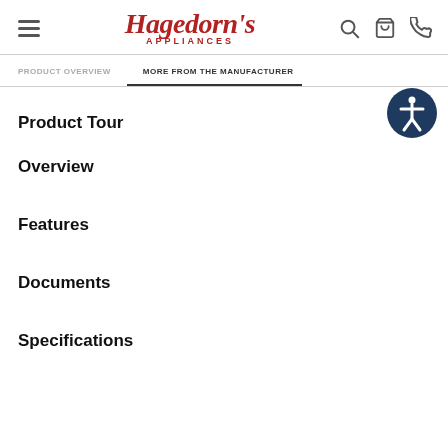Hagedorn's Appliances
PRODUCT OVERVIEW | MORE FROM THE MANUFACTURER
Product Tour
Overview
Features
Documents
Specifications